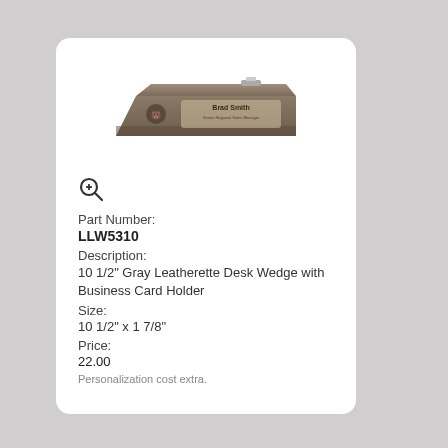[Figure (photo): Gray leatherette desk wedge name plate with business card holder, showing 'Brad Smith' engraved, with a bear logo on left side.]
Part Number:
LLW5310
Description:
10 1/2" Gray Leatherette Desk Wedge with Business Card Holder
Size:
10 1/2" x 1 7/8"
Price:
22.00
Personalization cost extra.